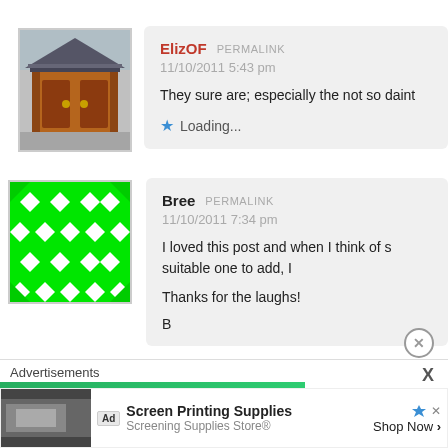[Figure (photo): Avatar image of a Japanese temple gate (red/orange wooden structure with tiled roof)]
ElizOF PERMALINK
11/10/2011 5:43 pm
They sure are; especially the not so daint
Loading...
[Figure (illustration): Green pixel/geometric pattern avatar on white background]
Bree PERMALINK
11/10/2011 7:34 pm
I loved this post and when I think of s suitable one to add, I
Thanks for the laughs!
B
Advertisements
[Figure (screenshot): Advertisement for Screen Printing Supplies - Screening Supplies Store, Shop Now button]